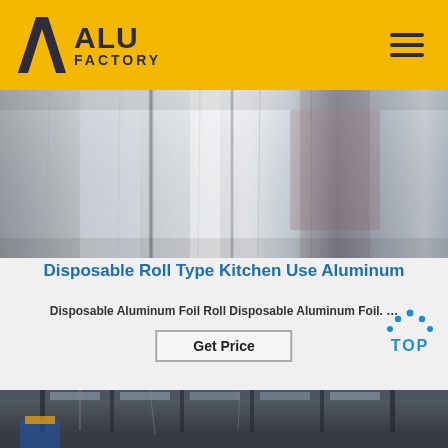ALU FACTORY
[Figure (photo): Close-up of shiny aluminum foil roll surface showing metallic silver reflective texture]
Disposable Roll Type Kitchen Use Aluminum
Disposable Aluminum Foil Roll Disposable Aluminum Foil. ...
Get Price
[Figure (photo): Interior of large industrial factory warehouse with overhead cranes and structural steel columns, dim lighting]